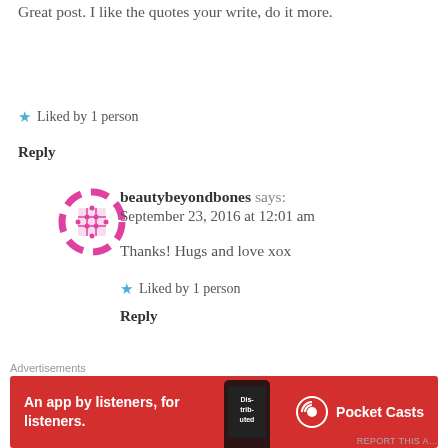Great post. I like the quotes your write, do it more.
★ Liked by 1 person
Reply
beautybeyondbones says: September 23, 2016 at 12:01 am
Thanks! Hugs and love xox
★ Liked by 1 person
Reply
Hira says:
Advertisements
[Figure (infographic): Pocket Casts advertisement banner on red background: 'An app by listeners, for listeners.' with phone graphic and Pocket Casts logo]